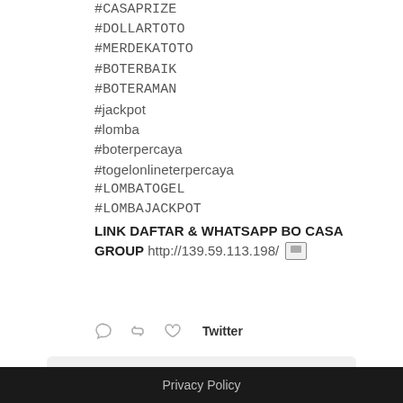#CASAPRIZE
#DOLLARTOTO
#MERDEKATOTO
#BOTERBAIK
#BOTERAMAN
#jackpot
#lomba
#boterpercaya
#togelonlineterpercaya
#LOMBATOGEL
#LOMBAJACKPOT
LINK DAFTAR & WHATSAPP BO CASA GROUP http://139.59.113.198/ [image icon]
Twitter
Load More
Privacy Policy